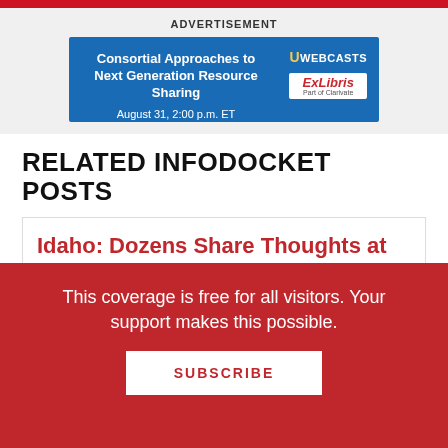[Figure (other): Top red bar navigation element]
ADVERTISEMENT
[Figure (illustration): Blue advertisement banner: Consortial Approaches to Next Generation Resource Sharing, August 31, 2:00 p.m. ET, UWebcasts / ExLibris Part of Clarivate]
RELATED INFODOCKET POSTS
Idaho: Dozens Share Thoughts at Meridian Library Meeting on Restricting Books & Dissolving the District: SAGE
This coverage is free for all visitors. Your support makes this possible.
SUBSCRIBE